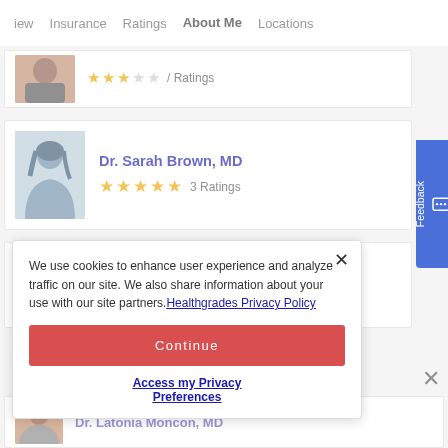iew   Insurance   Ratings   About Me   Locations
[Figure (photo): Partial doctor photo card with star ratings (3.5 stars, 7 Ratings)]
[Figure (photo): Dr. Sarah Brown, MD - female silhouette placeholder photo]
Dr. Sarah Brown, MD
3 Ratings
[Figure (photo): Dr. Christopher Dondlinger, MD - male silhouette placeholder photo]
Dr. Christopher Dondlinger, MD
We use cookies to enhance user experience and analyze traffic on our site. We also share information about your use with our site partners. Healthgrades Privacy Policy
Continue
Access my Privacy Preferences
Dr. Latonia Moncon, MD